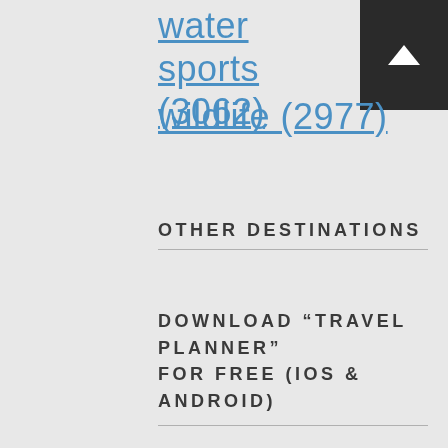water sports (3062)
wildlife (2977)
OTHER DESTINATIONS
DOWNLOAD “TRAVEL PLANNER” FOR FREE (IOS & ANDROID)